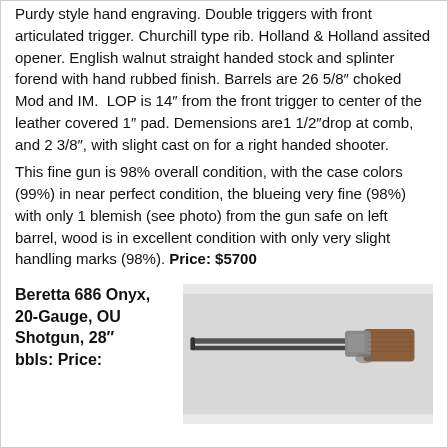Purdy style hand engraving. Double triggers with front articulated trigger. Churchill type rib. Holland & Holland assited opener. English walnut straight handed stock and splinter forend with hand rubbed finish. Barrels are 26 5/8" choked Mod and IM. LOP is 14" from the front trigger to center of the leather covered 1" pad. Demensions are1 1/2"drop at comb, and 2 3/8", with slight cast on for a right handed shooter.
This fine gun is 98% overall condition, with the case colors (99%) in near perfect condition, the blueing very fine (98%) with only 1 blemish (see photo) from the gun safe on left barrel, wood is in excellent condition with only very slight handling marks (98%). Price: $5700
Beretta 686 Onyx, 20-Gauge, OU Shotgun, 28" bbls: Price:
[Figure (photo): Photo of a Beretta 686 Onyx shotgun, showing the side profile of the gun with wooden stock and metal barrel against a light gray background.]